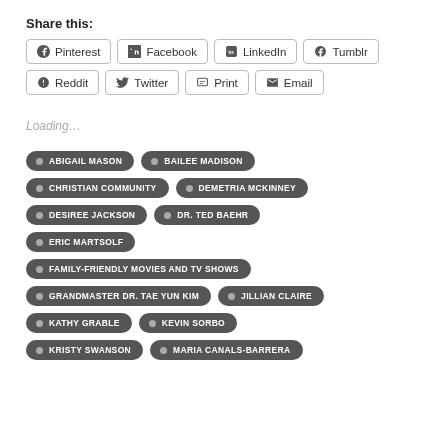Share this:
Pinterest
Facebook
LinkedIn
Tumblr
Reddit
Twitter
Print
Email
Loading…
ABIGAIL MASON
BAILEE MADISON
CHRISTIAN COMMUNITY
DEMETRIA MCKINNEY
DESIREE JACKSON
DR. TED BAEHR
ERIC MARTSOLF
FAMILY-FRIENDLY MOVIES AND TV SHOWS
GRANDMASTER DR. TAE YUN KIM
JILLIAN CLAIRE
KATHY GRABLE
KEVIN SORBO
KRISTY SWANSON
MARIA CANALS-BARRERA